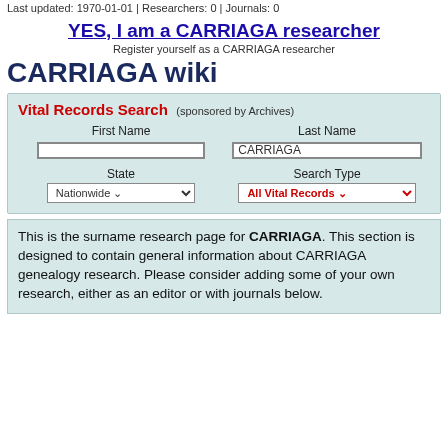Last updated: 1970-01-01 | Researchers: 0 | Journals: 0
YES, I am a CARRIAGA researcher
Register yourself as a CARRIAGA researcher
CARRIAGA wiki
Vital Records Search (sponsored by Archives)
First Name | Last Name
[input] | CARRIAGA
State | Search Type
Nationwide | All Vital Records
This is the surname research page for CARRIAGA. This section is designed to contain general information about CARRIAGA genealogy research. Please consider adding some of your own research, either as an editor or with journals below.